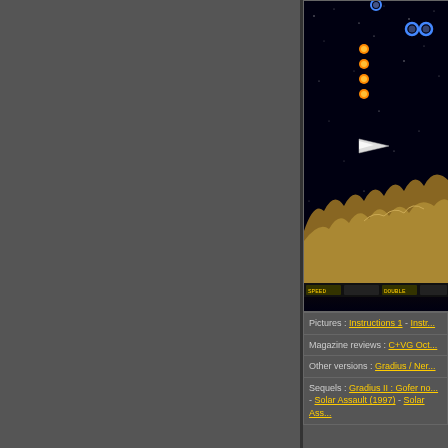[Figure (screenshot): Arcade game screenshot showing space shooter (Gradius) with spacecraft, orange orbs, blue rings, and rocky terrain at bottom. HUD bar at bottom shows SPEED, DOUBLE indicators.]
Pictures : Instructions 1 - Instr...
Magazine reviews : C+VG Oct...
Other versions : Gradius / Ner...
Sequels : Gradius II : Gofer no... - Solar Assault (1997) - Solar Ass...
Hy...
Konami Game Number : GX4...